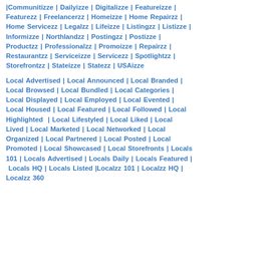Communitizze | Dailyizze | Digitalizze | Featureizze | Featurezz | Freelancerzz | Homeizze | Home Repairzz | Home Servicezz | Legalzz | Lifeizze | Listingzz | Listizze | Informizze | Northlandzz | Postingzz | Postizze | Productzz | Professionalzz | Promoizze | Repairzz | Restaurantzz | Serviceizze | Servicezz | Spotlightzz | Storefrontzz | Stateizze | Statezz | USAizze
Local Advertised | Local Announced | Local Branded | Local Browsed | Local Bundled | Local Categories | Local Displayed | Local Employed | Local Evented | Local Housed | Local Featured | Local Followed | Local Highlighted | Local Lifestyled | Local Liked | Local Lived | Local Marketed | Local Networked | Local Organized | Local Partnered | Local Posted | Local Promoted | Local Showcased | Local Storefronts | Locals 101 | Locals Advertised | Locals Daily | Locals Featured | Locals HQ | Locals Listed | Localzz 101 | Localzz HQ | Localzz 360